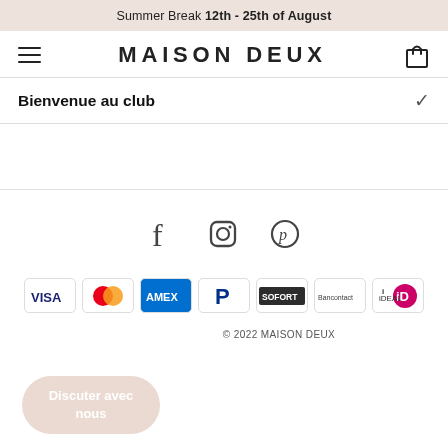Summer Break 12th - 25th of August
MAISON DEUX
Bienvenue au club
[Figure (infographic): Social media icons: Facebook, Instagram, Pinterest]
[Figure (infographic): Payment method badges: VISA, Mastercard, AMEX, PayPal, SOFORT, Bancontact, iDEAL]
© 2022 MAISON DEUX
Discuter avec nous